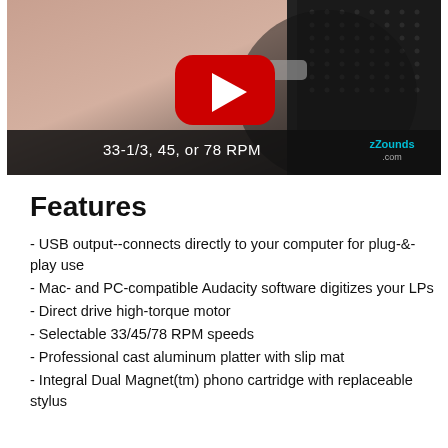[Figure (screenshot): YouTube video thumbnail showing a turntable/record player with a hand touching the record. Text overlay reads '33-1/3, 45, or 78 RPM' and 'zZounds .com' in the lower right. A red YouTube play button is centered on the image.]
Features
- USB output--connects directly to your computer for plug-&-play use
- Mac- and PC-compatible Audacity software digitizes your LPs
- Direct drive high-torque motor
- Selectable 33/45/78 RPM speeds
- Professional cast aluminum platter with slip mat
- Integral Dual Magnet(tm) phono cartridge with replaceable stylus